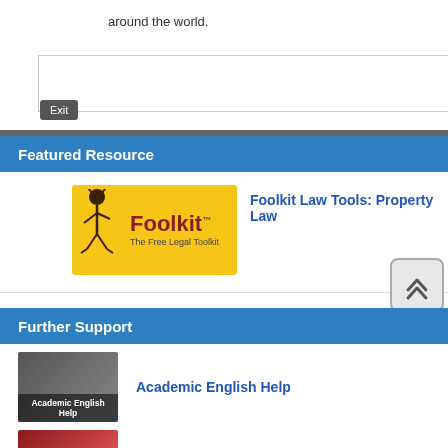around the world.
Featured Resource
[Figure (logo): Foolkit - The Free Legal Toolkit logo on yellow background]
Foolkit Law Tools: Property Law
[Figure (other): Scroll to top button with double chevron up arrow]
Further Support
[Figure (photo): Academic English Help thumbnail with books background]
Academic English Help
[Figure (photo): Legal Research & Writing thumbnail with law books]
Legal Research & Writing
[Figure (photo): Australian Guide to Legal Citation Third Edition book cover]
Referencing in Law